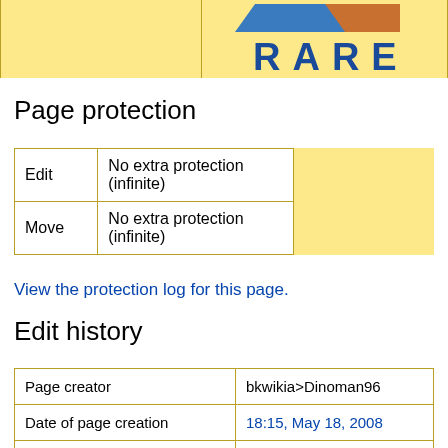[Figure (logo): RARE logo — blue and orange/brown geometric shape on yellow background with letters R A R E below in blue]
Page protection
|  |  |  |
| --- | --- | --- |
| Edit | No extra protection (infinite) |  |
| Move | No extra protection (infinite) |  |
View the protection log for this page.
Edit history
| Page creator | bkwikia>Dinoman96 |
| Date of page creation | 18:15, May 18, 2008 |
| Latest editor | Magma (talk | |